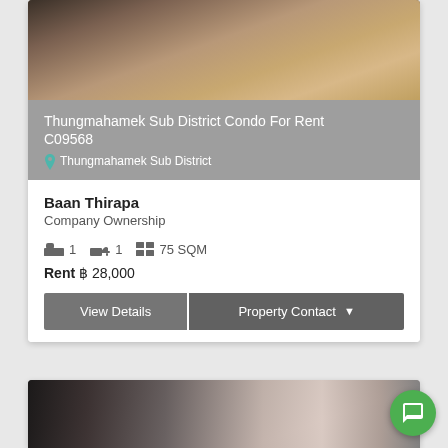[Figure (photo): Interior room photo of a condo, showing warm-toned floor and furniture]
Thungmahamek Sub District Condo For Rent C09568
Thungmahamek Sub District
Baan Thirapa
Company Ownership
1 bedroom  1 bathroom  75 SQM
Rent ฿ 28,000
[Figure (photo): Interior room photo of a condo, showing dark furniture and white walls]